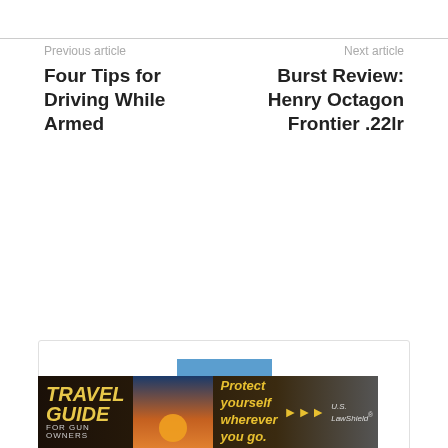Previous article
Four Tips for Driving While Armed
Next article
Burst Review: Henry Octagon Frontier .22lr
[Figure (photo): Author photo: man standing in front of a red single-engine aircraft with tail number 331W, wearing white shirt and khaki pants]
Foghorn
http://thetruthaboutguns.com/author/foghorn/
[Figure (infographic): Travel Guide for Gun Owners advertisement banner - black background with yellow text 'Protect yourself wherever you go.' with US LawShield branding]